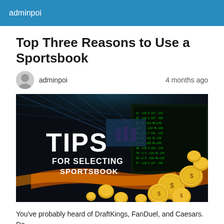adminpoi
Top Three Reasons to Use a Sportsbook
adminpoi    4 months ago
[Figure (photo): Promotional image with text 'TIPS FOR SELECTING SPORTSBOOK' overlaid on a sportsbook venue background with screens showing odds and gold coins scattered in the foreground.]
You've probably heard of DraftKings, FanDuel, and Caesars. Do